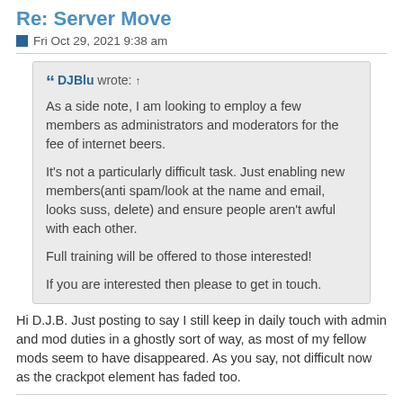Re: Server Move
Fri Oct 29, 2021 9:38 am
DJBlu wrote: ↑
As a side note, I am looking to employ a few members as administrators and moderators for the fee of internet beers.

It's not a particularly difficult task. Just enabling new members(anti spam/look at the name and email, looks suss, delete) and ensure people aren't awful with each other.

Full training will be offered to those interested!

If you are interested then please to get in touch.
Hi D.J.B. Just posting to say I still keep in daily touch with admin and mod duties in a ghostly sort of way, as most of my fellow mods seem to have disappeared. As you say, not difficult now as the crackpot element has faded too.
Si Deus pro nobis, quis contra nos?